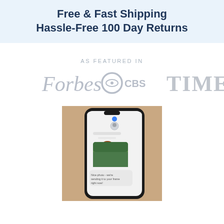Free & Fast Shipping
Hassle-Free 100 Day Returns
AS FEATURED IN
[Figure (logo): Forbes, CBS, TIME media logos displayed in gray]
[Figure (photo): Hand holding a smartphone showing a photo sharing conversation with an image of a child in a forest scene]